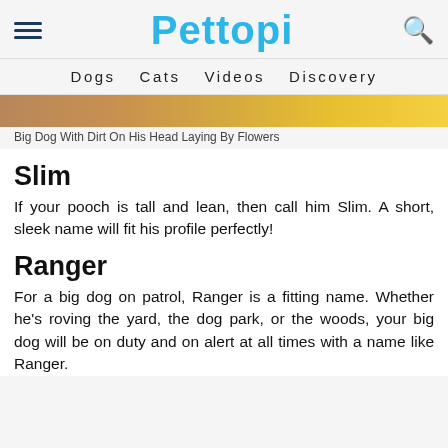Pettopi
Dogs   Cats   Videos   Discovery
[Figure (photo): Partial image strip of a big dog with dirt on his head laying by flowers]
Big Dog With Dirt On His Head Laying By Flowers
Slim
If your pooch is tall and lean, then call him Slim. A short, sleek name will fit his profile perfectly!
Ranger
For a big dog on patrol, Ranger is a fitting name. Whether he's roving the yard, the dog park, or the woods, your big dog will be on duty and on alert at all times with a name like Ranger.